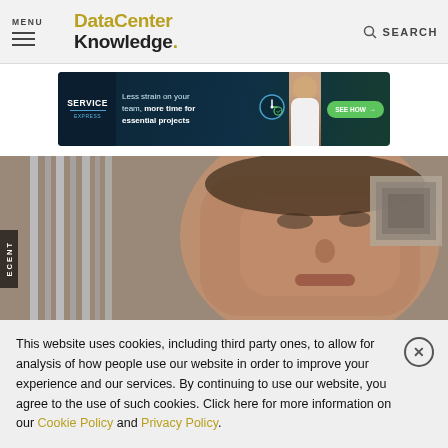MENU | Data Center Knowledge. SEARCH
[Figure (photo): Service Express advertisement banner: dark teal background, Service Express logo on left, text 'Less strain on your team, more time for essential projects', clock graphic, woman photo, green 'SEE HOW →' button]
[Figure (photo): Close-up photo of a man's face, slightly blurred/pixelated, with vertical blinds on the left and a framed picture on the right background]
This website uses cookies, including third party ones, to allow for analysis of how people use our website in order to improve your experience and our services. By continuing to use our website, you agree to the use of such cookies. Click here for more information on our Cookie Policy and Privacy Policy.